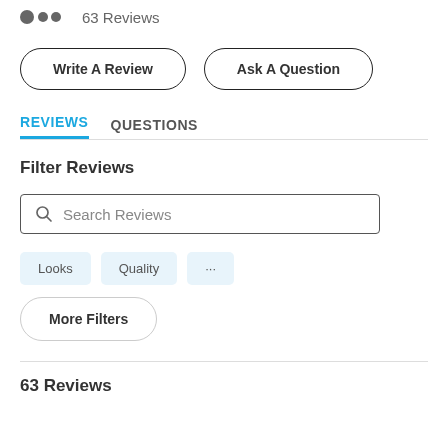63 Reviews
Write A Review
Ask A Question
REVIEWS   QUESTIONS
Filter Reviews
Search Reviews
Looks
Quality
...
More Filters
63 Reviews